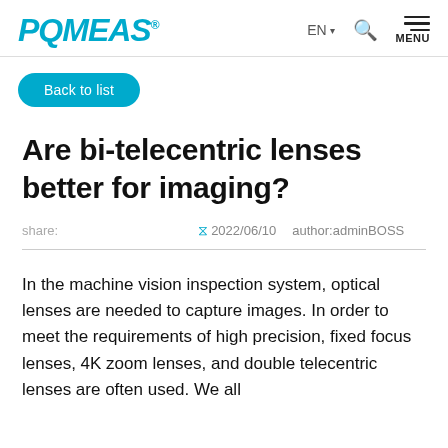POMEAS® | EN | Search | MENU
Back to list
Are bi-telecentric lenses better for imaging?
share:   ⟳2022/06/10   author:adminBOSS
In the machine vision inspection system, optical lenses are needed to capture images. In order to meet the requirements of high precision, fixed focus lenses, 4K zoom lenses, and double telecentric lenses are often used. We all